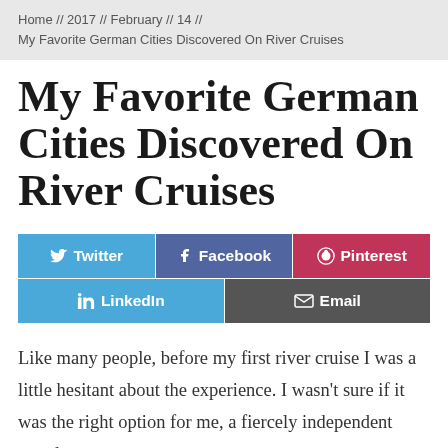Home // 2017 // February // 14 // My Favorite German Cities Discovered On River Cruises
My Favorite German Cities Discovered On River Cruises
[Figure (infographic): Social sharing buttons: Twitter (blue), Facebook (dark blue), Pinterest (red), LinkedIn (blue), Email (dark gray)]
Like many people, before my first river cruise I was a little hesitant about the experience. I wasn't sure if it was the right option for me, a fiercely independent traveler.